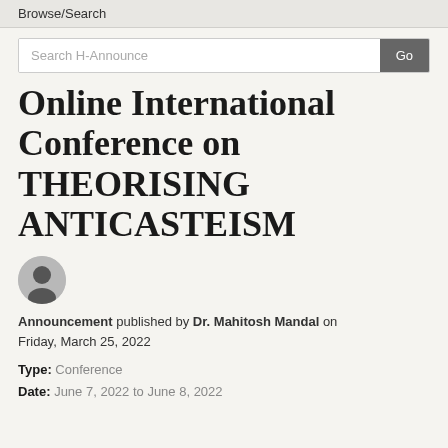Browse/Search
Search H-Announce
Online International Conference on THEORISING ANTICASTEISM
[Figure (illustration): User avatar silhouette icon — a generic person profile image in a grey circle]
Announcement published by Dr. Mahitosh Mandal on Friday, March 25, 2022
Type: Conference
Date: June 7, 2022 to June 8, 2022